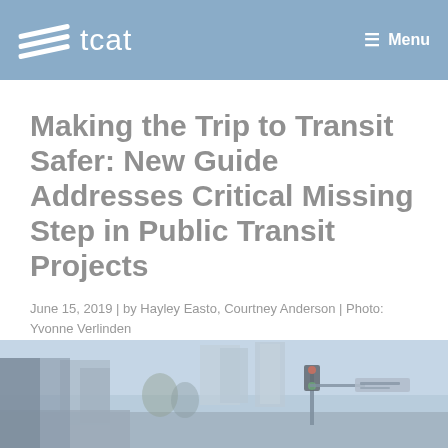tcat  Menu
Making the Trip to Transit Safer: New Guide Addresses Critical Missing Step in Public Transit Projects
June 15, 2019 | by Hayley Easto, Courtney Anderson | Photo: Yvonne Verlinden
[Figure (photo): Street-level urban photo showing a city intersection with traffic lights and street signs, muted blue-gray tones]